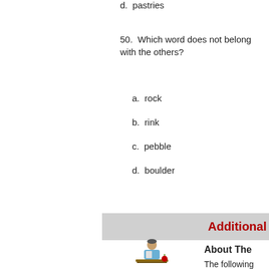d.  pastries
50.  Which word does not belong with the others?
a.  rock
b.  rink
c.  pebble
d.  boulder
Additional
About The
The following